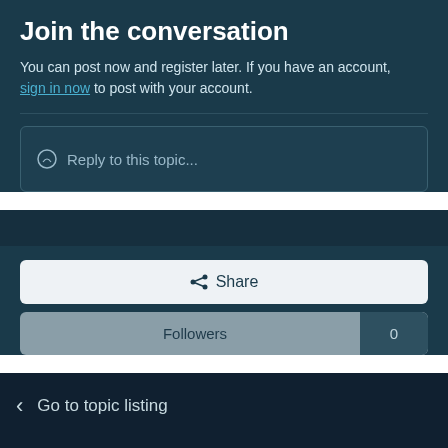Join the conversation
You can post now and register later. If you have an account, sign in now to post with your account.
Reply to this topic...
Share
Followers 0
Go to topic listing